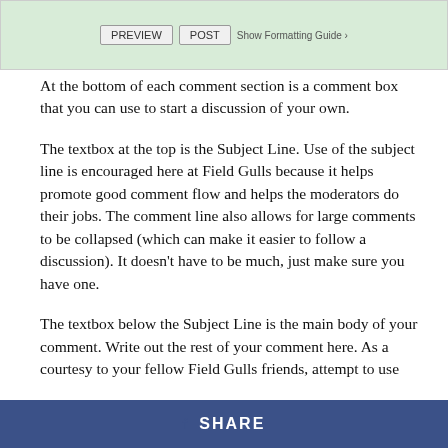[Figure (screenshot): Comment box UI with PREVIEW and POST buttons and a Show Formatting Guide link on a light green background]
At the bottom of each comment section is a comment box that you can use to start a discussion of your own.
The textbox at the top is the Subject Line. Use of the subject line is encouraged here at Field Gulls because it helps promote good comment flow and helps the moderators do their jobs. The comment line also allows for large comments to be collapsed (which can make it easier to follow a discussion). It doesn't have to be much, just make sure you have one.
The textbox below the Subject Line is the main body of your comment. Write out the rest of your comment here. As a courtesy to your fellow Field Gulls friends, attempt to use
f SHARE